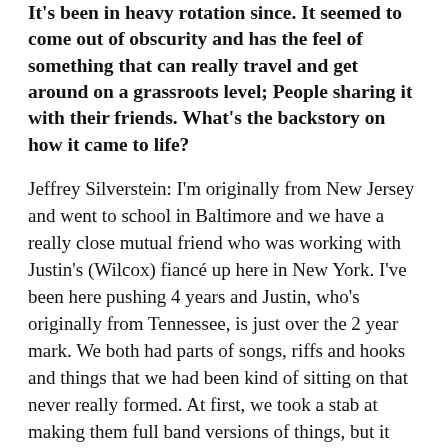It's been in heavy rotation since. It seemed to come out of obscurity and has the feel of something that can really travel and get around on a grassroots level; People sharing it with their friends. What's the backstory on how it came to life?
Jeffrey Silverstein: I'm originally from New Jersey and went to school in Baltimore and we have a really close mutual friend who was working with Justin's (Wilcox) fiancé up here in New York. I've been here pushing 4 years and Justin, who's originally from Tennessee, is just over the 2 year mark. We both had parts of songs, riffs and hooks and things that we had been kind of sitting on that never really formed. At first, we took a stab at making them full band versions of things, but it just wasn't really panning out. We both came from bands that were much bigger. I played in a band called Secret Mountains, a 6 piece. Justin's band was a 5 piece, so we both have had larger projects with larger personalities. For the